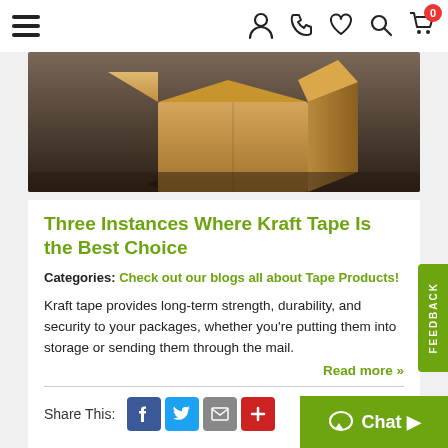Navigation bar with hamburger menu, user, phone, heart, search, cart (0) icons
[Figure (photo): Cardboard shipping box on dark wooden surface, partially open top flap, warm brown tones]
Three Instances Where Kraft Tape Is the Best Choice
Categories: Check out our blogs all about Tape Products!
Kraft tape provides long-term strength, durability, and security to your packages, whether you're putting them into storage or sending them through the mail.
Read more »
Share This: